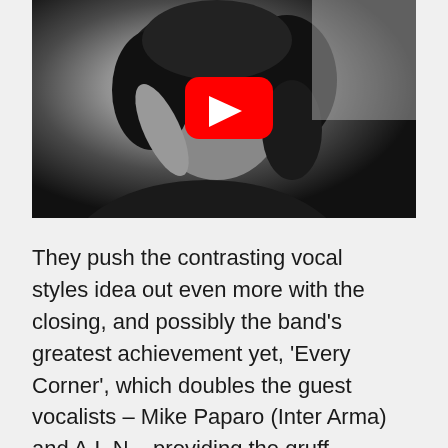[Figure (photo): Black and white photo of a person with curly hair, with a YouTube play button overlay in the center]
They push the contrasting vocal styles idea out even more with the closing, and possibly the band's greatest achievement yet, 'Every Corner', which doubles the guest vocalists – Mike Paparo (Inter Arma) and A.L.N – providing the gruff contrasts. It also contains the album's best riff 'n' slow groove of the album. But, before we hear this, it has an opening dream-state melody while the latter stages of the song transcend into a deep-drilled up-tempo heavy before it all kind of